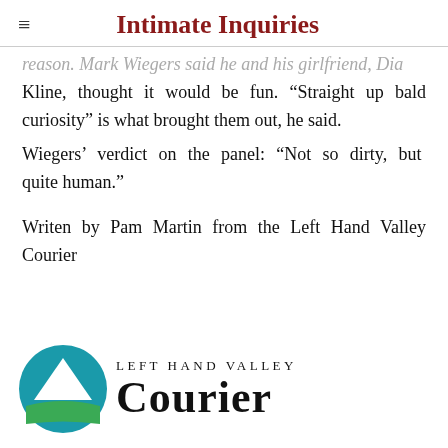Intimate Inquiries
reason. Mark Wiegers said he and his girlfriend, Dia Kline, thought it would be fun. “Straight up bald curiosity” is what brought them out, he said.
Wiegers’ verdict on the panel: “Not so dirty, but quite human.”
Writen by Pam Martin from the Left Hand Valley Courier
[Figure (logo): Left Hand Valley Courier logo with teal/green mountain circle icon and stylized text]